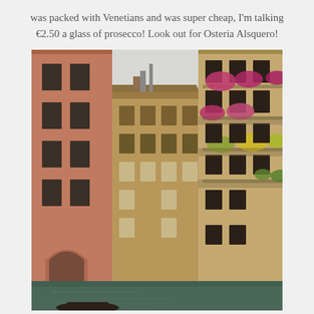was packed with Venetians and was super cheap, I'm talking €2.50 a glass of prosecco! Look out for Osteria Alsquero!
[Figure (photo): A Venice canal scene with historic multi-story buildings on both sides. Buildings have warm terracotta and ochre facades with dark shuttered windows. The right building has ornate balconies decorated with colorful pink, red, and yellow flowering plants. A narrow canal is visible at the bottom with a glimpse of a small boat. The sky is overcast/white.]